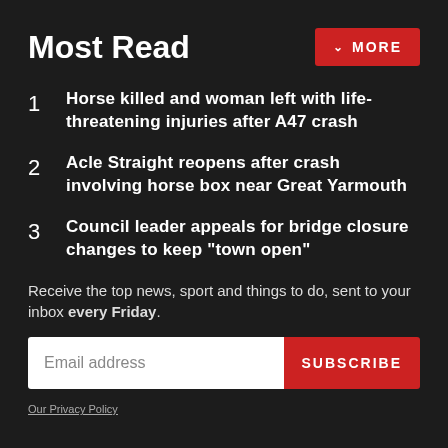Most Read
1 Horse killed and woman left with life-threatening injuries after A47 crash
2 Acle Straight reopens after crash involving horse box near Great Yarmouth
3 Council leader appeals for bridge closure changes to keep "town open"
Receive the top news, sport and things to do, sent to your inbox every Friday.
Email address
SUBSCRIBE
Our Privacy Policy